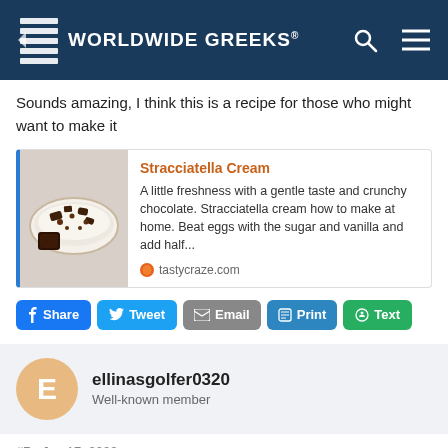Worldwide Greeks
Sounds amazing, I think this is a recipe for those who might want to make it
[Figure (screenshot): Link card for Stracciatella Cream recipe from tastycraze.com with food image thumbnail]
Stracciatella Cream - A little freshness with a gentle taste and crunchy chocolate. Stracciatella cream how to make at home. Beat eggs with the sugar and vanilla and add half... - tastycraze.com
Share | Tweet | Email | Print | Text
ellinasgolfer0320
Well-known member
#7 • Jun 17, 2022
greek_ggirl said: